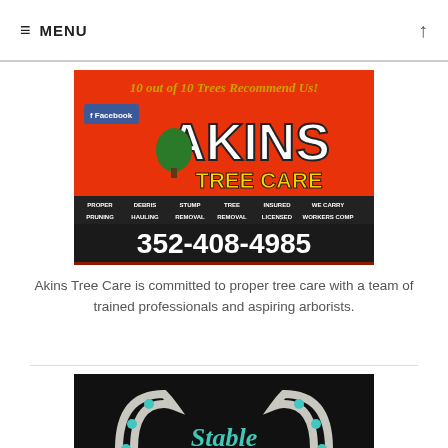≡ MENU ↑
[Figure (logo): Akins Tree Care advertisement banner on red background. Text reads '10 out of 10 Trees Recommend Us!' with large white AKINS TREE CARE logo, services listed: PROPER PRUNING, DEBRIS HAULING, STUMP REMOVAL, TREE REMOVAL, INSURED LICENSED, WE CARRY WORKERS COMP, and phone number 352-408-4985]
Akins Tree Care is committed to proper tree care with a team of trained professionals and aspiring arborists.
[Figure (logo): Stable Yoga logo on black background showing two horseshoes forming a circular shape with turquoise beads, with 'Stable Yoga' written in teal script inside]